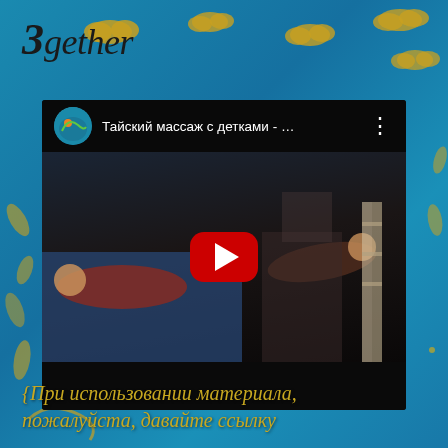3gether
[Figure (screenshot): YouTube video embed showing thumbnail of Thai massage with children. Video title: 'Тайский массаж с детками - ...' with channel avatar, menu dots, and red play button overlay. Dark video frame showing people lying on a mat.]
{При использовании материала, пожалуйста, давайте ссылку